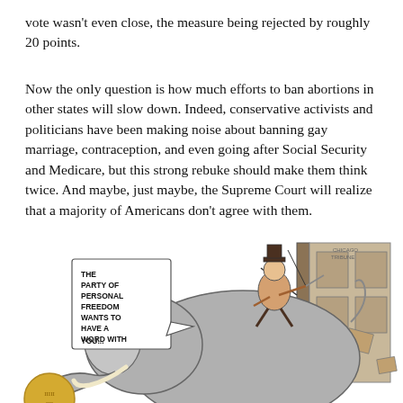vote wasn't even close, the measure being rejected by roughly 20 points.
Now the only question is how much efforts to ban abortions in other states will slow down. Indeed, conservative activists and politicians have been making noise about banning gay marriage, contraception, and even going after Social Security and Medicare, but this strong rebuke should make them think twice. And maybe, just maybe, the Supreme Court will realize that a majority of Americans don't agree with them.
[Figure (illustration): Political cartoon showing a Republican elephant (GOP symbol) crashing through a door or wall, ridden by a small figure. A speech bubble reads: 'THE PARTY OF PERSONAL FREEDOM WANTS TO HAVE A WORD WITH YOU...' The cartoon is credited to Chicago Tribune / Jeff Danziger.]